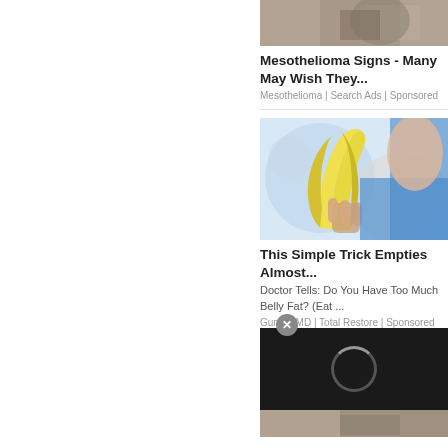[Figure (photo): Partial image of a person visible at top of ad card 1 (cropped, brownish tones)]
Mesothelioma Signs - Many May Wish They...
Mesothelioma | Search Ads | Sponsored
[Figure (photo): Woman in blue top peeling a banana, light background]
This Simple Trick Empties Almost...
Doctor Tells: Do You Have Too Much Belly Fat? (Eat ...
Gundry MD | Total Restore | Sponsored
[Figure (photo): Dark overlay with loading spinner (partial bottom-right of screen)]
[Figure (photo): Partial image at very bottom of page for third ad card]